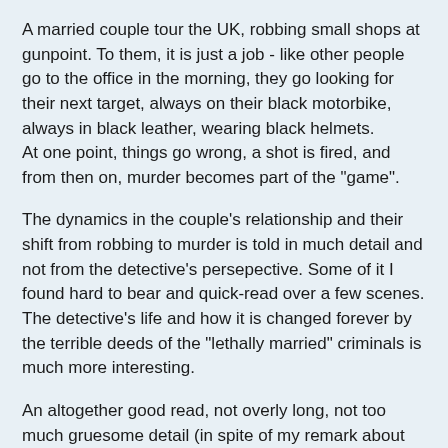A married couple tour the UK, robbing small shops at gunpoint. To them, it is just a job - like other people go to the office in the morning, they go looking for their next target, always on their black motorbike, always in black leather, wearing black helmets.
At one point, things go wrong, a shot is fired, and from then on, murder becomes part of the "game".
The dynamics in the couple's relationship and their shift from robbing to murder is told in much detail and not from the detective's persepective. Some of it I found hard to bear and quick-read over a few scenes.
The detective's life and how it is changed forever by the terrible deeds of the "lethally married" criminals is much more interesting.
An altogether good read, not overly long, not too much gruesome detail (in spite of my remark about having quick-read a few scenes) but still plenty of suspense.
The author was completely unknown to me and has, I